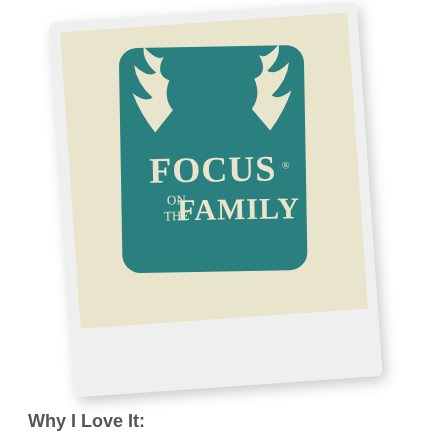[Figure (logo): A Polaroid-style photograph showing the Focus on the Family logo. The logo features a teal/dark green rounded rectangle with a silhouette of a child raising their arms with wing-like shapes in cream/white. Text reads 'FOCUS on the FAMILY' in white serif font. The polaroid has a cream-colored photo area and white border with extra space at the bottom.]
Why I Love It: